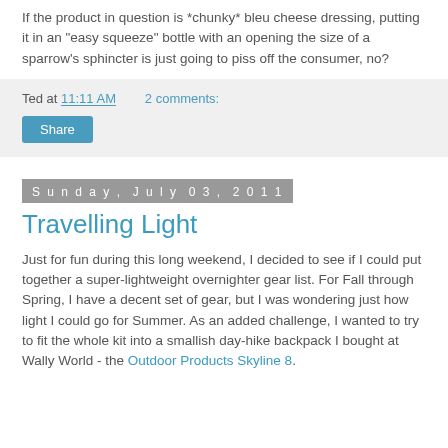If the product in question is *chunky* bleu cheese dressing, putting it in an "easy squeeze" bottle with an opening the size of a sparrow's sphincter is just going to piss off the consumer, no?
Ted at 11:11 AM   2 comments:
Share
Sunday, July 03, 2011
Travelling Light
Just for fun during this long weekend, I decided to see if I could put together a super-lightweight overnighter gear list. For Fall through Spring, I have a decent set of gear, but I was wondering just how light I could go for Summer. As an added challenge, I wanted to try to fit the whole kit into a smallish day-hike backpack I bought at Wally World - the Outdoor Products Skyline 8.